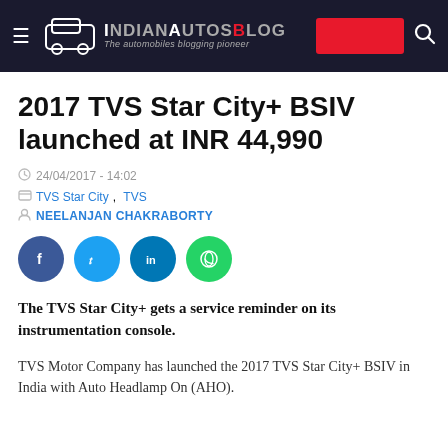IndianAutosBlog – The automobiles blogging pioneer
2017 TVS Star City+ BSIV launched at INR 44,990
24/04/2017 - 14:02
TVS Star City, TVS
NEELANJAN CHAKRABORTY
The TVS Star City+ gets a service reminder on its instrumentation console.
TVS Motor Company has launched the 2017 TVS Star City+ BSIV in India with Auto Headlamp On (AHO).